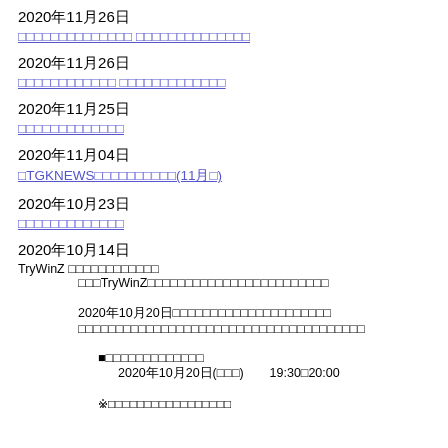2020年11月26日
□□□□□□□□□□□□□□ □□□□□□□□□□□□□□
2020年11月26日
□□□□□□□□□□□□ □□□□□□□□□□□□□
2020年11月25日
□□□□□□□□□□□□□
2020年11月04日
□TGKNEWS□□□□□□□□□□(11月□)
2020年10月23日
□□□□□□□□□□□□□
2020年10月14日
TryWinZ □□□□□□□□□□□□
　　□□□TryWinZ□□□□□□□□□□□□□□□□□□□□□□□□

　　2020年10月20日□□□□□□□□□□□□□□□□□□□□□
　　□□□□□□□□□□□□□□□□□□□□□□□□□□□□□□□□□□□□□□

■□□□□□□□□□□□□□
　　2020年10月20日(□□□)　　19:30□20:00

※□□□□□□□□□□□□□□□□□